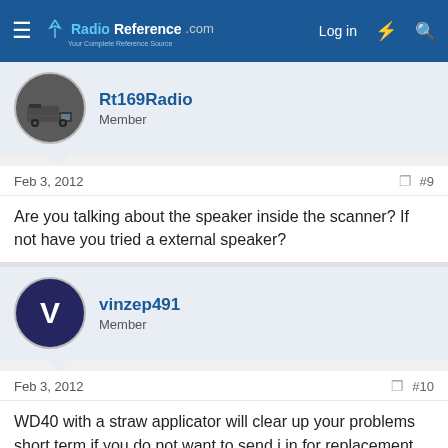RadioReference.com — Log in
Rt169Radio
Member
Feb 3, 2012   #9
Are you talking about the speaker inside the scanner? If not have you tried a external speaker?
vinzep491
Member
Feb 3, 2012   #10
WD40 with a straw applicator will clear up your problems short term if you do not want to send i in for replacement.

This is a wide spread problem with the RS models, and I believe I've read alot on this issue in other threads.